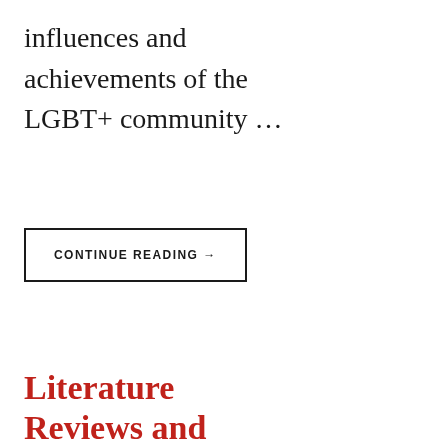influences and achievements of the LGBT+ community …
CONTINUE READING →
Literature Reviews and Journalism Portfolio
Hello! Welcome to my portfolio. My best